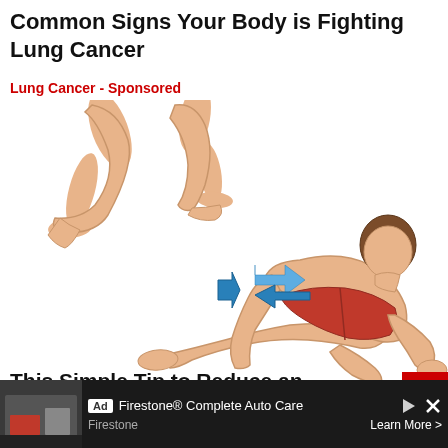Common Signs Your Body is Fighting Lung Cancer
Lung Cancer - Sponsored
[Figure (illustration): Illustration showing running legs at top and a person in a low lunge stretch position wearing red shorts with a blue arrow pointing left toward the hip area]
This Simple Tip to Reduce an Enlarged Prostate (Watch Now)
[Figure (screenshot): Ad bar at bottom: Firestone Complete Auto Care advertisement with store image, Ad tag, play/close icons, and Learn More button]